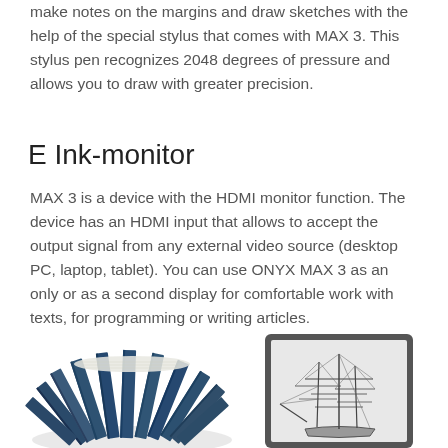make notes on the margins and draw sketches with the help of the special stylus that comes with MAX 3. This stylus pen recognizes 2048 degrees of pressure and allows you to draw with greater precision.
E Ink-monitor
MAX 3 is a device with the HDMI monitor function. The device has an HDMI input that allows to accept the output signal from any external video source (desktop PC, laptop, tablet). You can use ONYX MAX 3 as an only or as a second display for comfortable work with texts, for programming or writing articles.
[Figure (photo): Left: circular arrangement of blue hardcover books standing upright. Right: E-ink reader device showing a sketch of a sailing ship.]